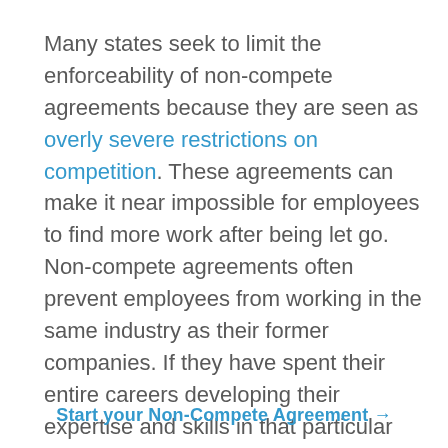Many states seek to limit the enforceability of non-compete agreements because they are seen as overly severe restrictions on competition. These agreements can make it near impossible for employees to find more work after being let go. Non-compete agreements often prevent employees from working in the same industry as their former companies. If they have spent their entire careers developing their expertise and skills in that particular industry, then such employees will be effectively foreclosed from finding any comparable work on
Start your Non-Compete Agreement →